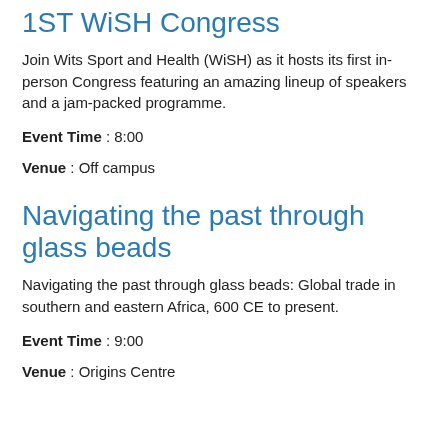1ST WiSH Congress
Join Wits Sport and Health (WiSH) as it hosts its first in-person Congress featuring an amazing lineup of speakers and a jam-packed programme.
Event Time : 8:00
Venue : Off campus
Navigating the past through glass beads
Navigating the past through glass beads: Global trade in southern and eastern Africa, 600 CE to present.
Event Time : 9:00
Venue : Origins Centre